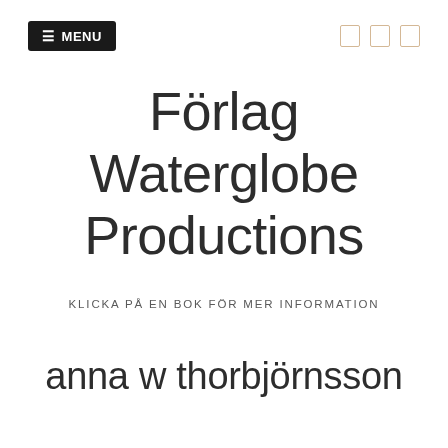☰ MENU
Förlag Waterglobe Productions
KLICKA PÅ EN BOK FÖR MER INFORMATION
anna w thorbjörnsson